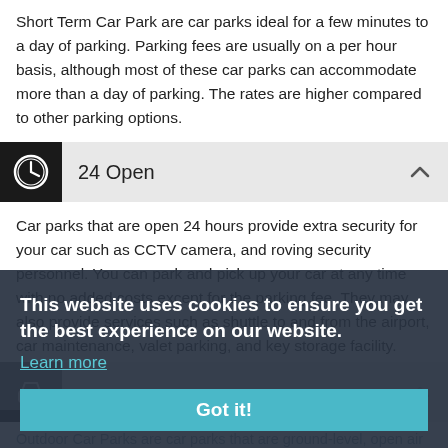Short Term Car Park are car parks ideal for a few minutes to a day of parking. Parking fees are usually on a per hour basis, although most of these car parks can accommodate more than a day of parking. The rates are higher compared to other parking options.
24 Open
Car parks that are open 24 hours provide extra security for your car such as CCTV camera, and roving security personnel. You can park and pick up your car at any time with no added costs except for the parking fee. They may also provide services such as shuttle to and from the airport, car maintenance, valet parking, and key storage facility.
This website uses cookies to ensure you get the best experience on our website.
Learn more
Got it!
Outdoor Car Parks are car parks that are ground-level, open air and open sided, providing natural lighting and does not need ventilation systems or air ducts. These car parks have cheaper operational costs as they save on electricity consumption which spells savings for users. Most of these car parks are fenced for extra security measure.